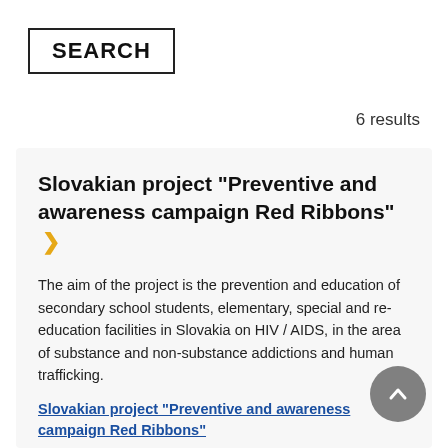SEARCH
6 results
Slovakian project "Preventive and awareness campaign Red Ribbons" ›
The aim of the project is the prevention and education of secondary school students, elementary, special and re-education facilities in Slovakia on HIV / AIDS, in the area of substance and non-substance addictions and human trafficking.
Slovakian project "Preventive and awareness campaign Red Ribbons"